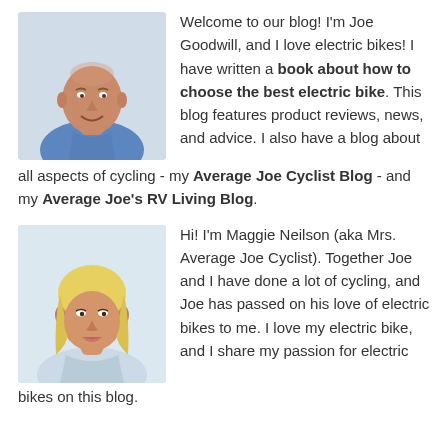[Figure (photo): Headshot photo of Joe Goodwill, a middle-aged man with a shaved head wearing a blue shirt, smiling.]
Welcome to our blog! I'm Joe Goodwill, and I love electric bikes! I have written a book about how to choose the best electric bike. This blog features product reviews, news, and advice. I also have a blog about all aspects of cycling - my Average Joe Cyclist Blog - and my Average Joe's RV Living Blog.
[Figure (photo): Headshot photo of Maggie Neilson, a blonde woman wearing a light blue shirt, smiling.]
Hi! I'm Maggie Neilson (aka Mrs. Average Joe Cyclist). Together Joe and I have done a lot of cycling, and Joe has passed on his love of electric bikes to me. I love my electric bike, and I share my passion for electric bikes on this blog.